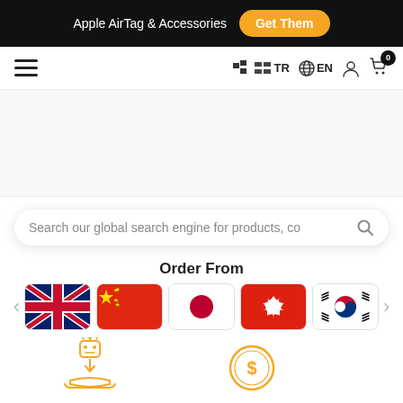Apple AirTag & Accessories  Get Them
[Figure (screenshot): Navigation bar with hamburger menu, TR language flag icon, EN globe icon, user icon, and cart icon with badge 0]
[Figure (screenshot): Search bar with placeholder text: Search our global search engine for products, co]
Order From
[Figure (illustration): Row of country flags: UK, China, Japan, Hong Kong, South Korea, with left and right arrows]
[Figure (illustration): Bottom icons: orange hand receiving coins icon and orange dollar coin icon]